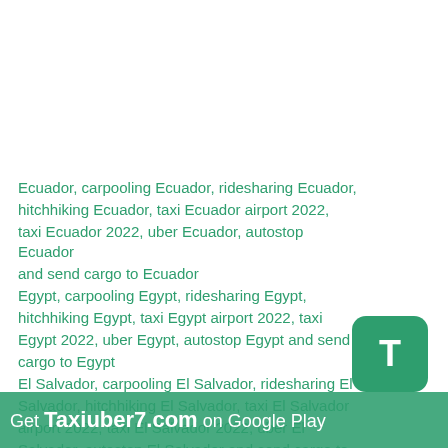Ecuador, carpooling Ecuador, ridesharing Ecuador, hitchhiking Ecuador, taxi Ecuador airport 2022, taxi Ecuador 2022, uber Ecuador, autostop Ecuador and send cargo to Ecuador
Egypt, carpooling Egypt, ridesharing Egypt, hitchhiking Egypt, taxi Egypt airport 2022, taxi Egypt 2022, uber Egypt, autostop Egypt and send cargo to Egypt
El Salvador, carpooling El Salvador, ridesharing El Salvador, hitchhiking El Salvador, taxi El Salvador airport 2022, taxi El Salvador 2022, uber El Salvador, autostop El Salvador and send cargo to El Salvador
Equatorial Guinea, carpooling Equatorial Guinea, hitchhiking Equatorial Guinea, taxi Equatorial Guinea airport
Get Taxiuber7.com on Google Play